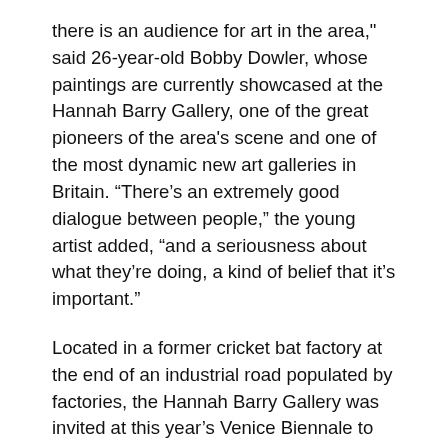there is an audience for art in the area," said 26-year-old Bobby Dowler, whose paintings are currently showcased at the Hannah Barry Gallery, one of the great pioneers of the area's scene and one of the most dynamic new art galleries in Britain. “There’s an extremely good dialogue between people,” the young artist added, “and a seriousness about what they’re doing, a kind of belief that it’s important.”
Located in a former cricket bat factory at the end of an industrial road populated by factories, the Hannah Barry Gallery was invited at this year’s Venice Biennale to stage the first Peckham Pavilion. Ms. Barry founded her eponymous gallery in 2008 with Sven MÃ¼ndner, and works with 32 artists, all aged between 21 and 35. Whether they are showing paintings, installations or photographies, their aim is to always show the work in-depth, in order to best represent the progress of the